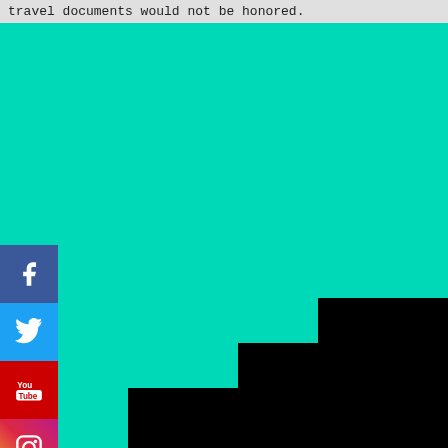travel documents would not be honored.
[Figure (infographic): Social media share buttons: Facebook (blue), Twitter (light blue), YouTube (red), Instagram (gradient pink/orange), and a partial grey button at the bottom.]